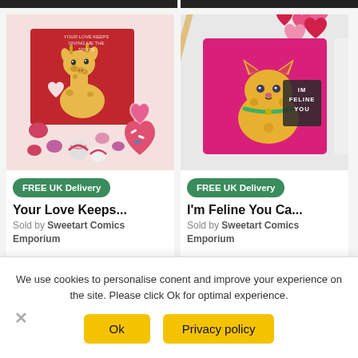[Figure (photo): Valentine card featuring a cartoon giraffe on a red background, surrounded by heart-shaped cookies and candies on a light pink background]
FREE UK Delivery
Your Love Keeps...
Sold by Sweetart Comics Emporium
£3.50
[Figure (photo): Valentine card featuring a cartoon yellow cat on a pink/magenta background with text IM FELINE YOU, surrounded by paper heart decorations]
FREE UK Delivery
I'm Feline You Ca...
Sold by Sweetart Comics Emporium
£3.50
We use cookies to personalise conent and improve your experience on the site. Please click Ok for optimal experience.